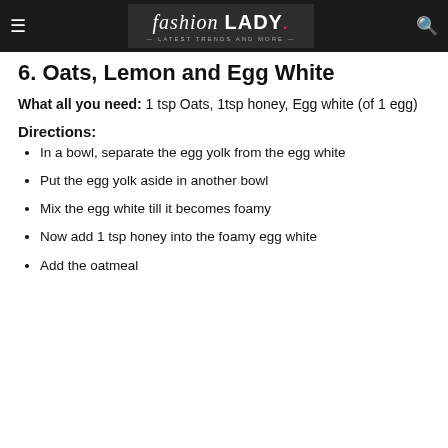fashion LADY — Latest Trends and More —
6. Oats, Lemon and Egg White
What all you need: 1 tsp Oats, 1tsp honey, Egg white (of 1 egg)
Directions:
In a bowl, separate the egg yolk from the egg white
Put the egg yolk aside in another bowl
Mix the egg white till it becomes foamy
Now add 1 tsp honey into the foamy egg white
Add the oatmeal